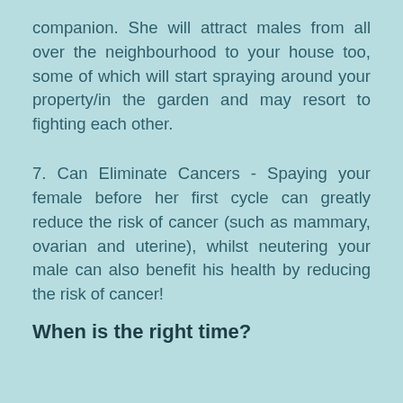companion. She will attract males from all over the neighbourhood to your house too, some of which will start spraying around your property/in the garden and may resort to fighting each other.
7. Can Eliminate Cancers - Spaying your female before her first cycle can greatly reduce the risk of cancer (such as mammary, ovarian and uterine), whilst neutering your male can also benefit his health by reducing the risk of cancer!
When is the right time?